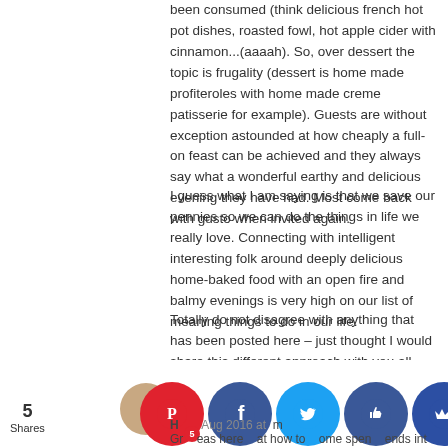been consumed (think delicious french hot pot dishes, roasted fowl, hot apple cider with cinnamon...(aaaah). So, over dessert the topic is frugality (dessert is home made profiteroles with home made creme patisserie for example). Guests are without exception astounded at how cheaply a full-on feast can be achieved and they always say what a wonderful earthy and delicious evening they have had. Most come back with gusto when invited again.
I guess what I am saying is that we save our pennies so we can do the things in life we really love. Connecting with intelligent interesting folk around deeply delicious home-baked food with an open fire and balmy evenings is very high on our list of meaning things to do in our life.
Totally do not disagree with anything that has been posted here – just thought I would share this different approach with you all.
Reply
H      Aug 2016 at m
Gr    eas here    at how to    ome spen    ends int